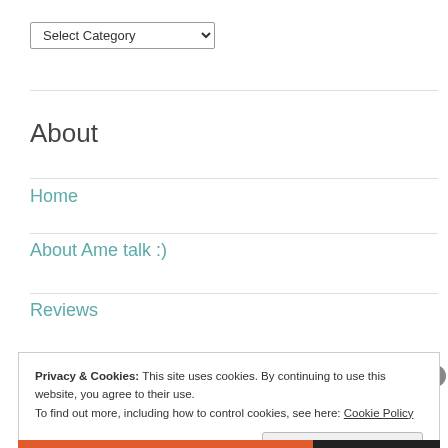[Figure (screenshot): A dropdown select element labeled 'Select Category' with a downward arrow indicator]
About
Home
About Ame talk :)
Reviews
Privacy & Cookies: This site uses cookies. By continuing to use this website, you agree to their use.
To find out more, including how to control cookies, see here: Cookie Policy
Close and accept